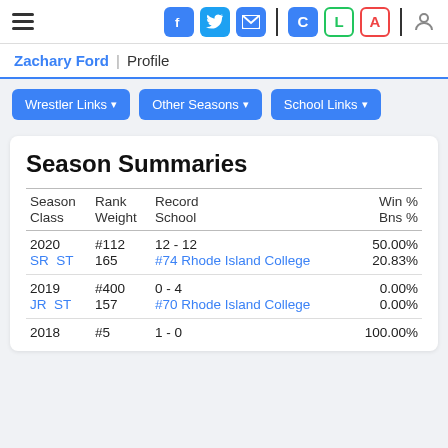Navigation bar with hamburger menu, social icons (Facebook, Twitter, Email), C/L/A buttons, and user icon
Zachary Ford | Profile
Wrestler Links ▾
Other Seasons ▾
School Links ▾
Season Summaries
| Season | Rank | Record | Win % | Class | Weight | School | Bns % |
| --- | --- | --- | --- | --- | --- | --- | --- |
| 2020 | #112 | 12 - 12 | 50.00% |
| SR  ST | 165 | #74 Rhode Island College | 20.83% |
| 2019 | #400 | 0 - 4 | 0.00% |
| JR  ST | 157 | #70 Rhode Island College | 0.00% |
| 2018 | #5 | 1 - 0 | 100.00% |